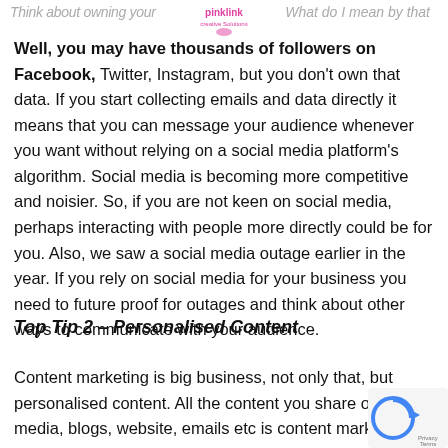Think about owning your   What do I mean by that
Well, you may have thousands of followers on Facebook, Twitter, Instagram, but you don't own that data. If you start collecting emails and data directly it means that you can message your audience whenever you want without relying on a social media platform's algorithm. Social media is becoming more competitive and noisier. So, if you are not keen on social media, perhaps interacting with people more directly could be for you. Also, we saw a social media outage earlier in the year. If you rely on social media for your business you need to future proof for outages and think about other ways to communicate with your audience.
Top Tip 2 – Personalised Content
Content marketing is big business, not only that, but personalised content. All the content you share on social media, blogs, website, emails etc is content marketing.